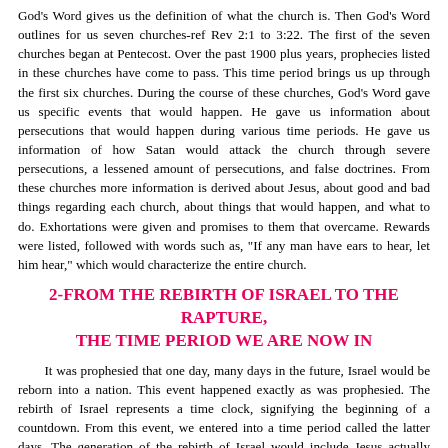God's Word gives us the definition of what the church is. Then God's Word outlines for us seven churches-ref Rev 2:1 to 3:22. The first of the seven churches began at Pentecost. Over the past 1900 plus years, prophecies listed in these churches have come to pass. This time period brings us up through the first six churches. During the course of these churches, God's Word gave us specific events that would happen. He gave us information about persecutions that would happen during various time periods. He gave us information of how Satan would attack the church through severe persecutions, a lessened amount of persecutions, and false doctrines. From these churches more information is derived about Jesus, about good and bad things regarding each church, about things that would happen, and what to do. Exhortations were given and promises to them that overcame. Rewards were listed, followed with words such as, "If any man have ears to hear, let him hear," which would characterize the entire church.
2-FROM THE REBIRTH OF ISRAEL TO THE RAPTURE, THE TIME PERIOD WE ARE NOW IN
It was prophesied that one day, many days in the future, Israel would be reborn into a nation. This event happened exactly as was prophesied. The rebirth of Israel represents a time clock, signifying the beginning of a countdown. From this event, we entered into a time period called the latter days. The generation of the rebirth of Israel would include Jesus actually returning to this earth and the gathering together of the elect.
Beginning with the rebirth of Israel, the Scriptures give us approximately 360 signs or prophecies to look for that would indicate an event called the Tribulation was about to begin; yet the Bible foretells that despite all the signs, despite the overwhelming evidence that God's Word has given us, that most people would not believe these things.